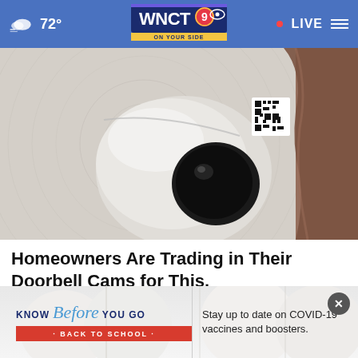72° WNCT 9 ON YOUR SIDE • LIVE
[Figure (photo): Close-up of a white dome-shaped security camera mounted on a wall, with a hand visible on the right side and a QR code sticker on the camera body]
Homeowners Are Trading in Their Doorbell Cams for This.
Keilini.com
[Figure (infographic): Advertisement banner showing teeth background with 'KNOW Before YOU GO · BACK TO SCHOOL ·' text on left and 'Stay up to date on COVID-19 vaccines and boosters.' on right, with a close button]